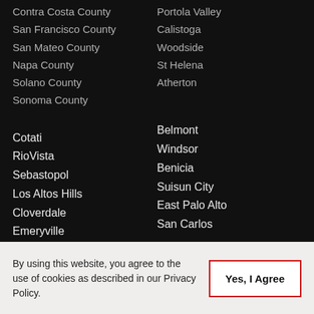Contra Costa County
San Francisco County
San Mateo County
Napa County
Solano County
Sonoma County
Portola Valley
Calistoga
Woodside
St Helena
Atherton
Cotati
RioVista
Sebastopol
Los Altos Hills
Cloverdale
Emeryville
Belmont
Windsor
Benicia
Suisun City
East Palo Alto
San Carlos
By using this website, you agree to the use of cookies as described in our Privacy Policy.
Yes, I Agree